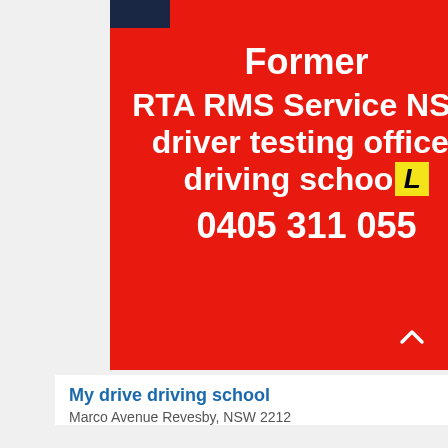[Figure (infographic): Red background advertisement banner for a driving school. Bold white text reads: Former RTA RMS Service NSW driver testing officer driving school (with yellow L-plate icon) 0405 311 055. A scroll-up arrow button appears in the bottom-right corner.]
My drive driving school
Marco Avenue Revesby, NSW 2212